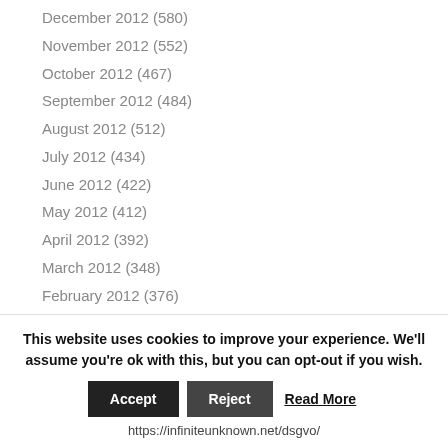December 2012 (580)
November 2012 (552)
October 2012 (467)
September 2012 (484)
August 2012 (512)
July 2012 (434)
June 2012 (422)
May 2012 (412)
April 2012 (392)
March 2012 (348)
February 2012 (376)
January 2012 (372)
December 2011 (381)
November 2011 (385)
October 2011 (400)
This website uses cookies to improve your experience. We'll assume you're ok with this, but you can opt-out if you wish.
https://infiniteunknown.net/dsgvo/